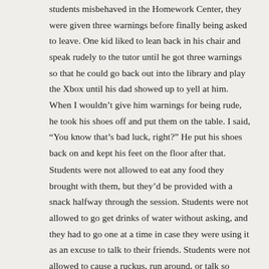students misbehaved in the Homework Center, they were given three warnings before finally being asked to leave. One kid liked to lean back in his chair and speak rudely to the tutor until he got three warnings so that he could go back out into the library and play the Xbox until his dad showed up to yell at him. When I wouldn't give him warnings for being rude, he took his shoes off and put them on the table. I said, “You know that’s bad luck, right?” He put his shoes back on and kept his feet on the floor after that.
Students were not allowed to eat any food they brought with them, but they’d be provided with a snack halfway through the session. Students were not allowed to go get drinks of water without asking, and they had to go one at a time in case they were using it as an excuse to talk to their friends. Students were not allowed to cause a ruckus, run around, or talk so loudly that the room became deafening. To get them to sit still and be